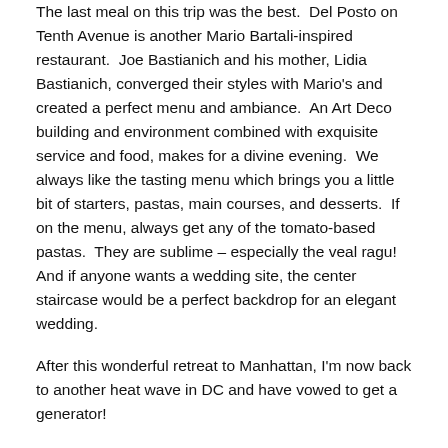The last meal on this trip was the best.  Del Posto on Tenth Avenue is another Mario Bartali-inspired restaurant.  Joe Bastianich and his mother, Lidia Bastianich, converged their styles with Mario's and created a perfect menu and ambiance.  An Art Deco building and environment combined with exquisite service and food, makes for a divine evening.  We always like the tasting menu which brings you a little bit of starters, pastas, main courses, and desserts.  If on the menu, always get any of the tomato-based pastas.  They are sublime – especially the veal ragu! And if anyone wants a wedding site, the center staircase would be a perfect backdrop for an elegant wedding.
After this wonderful retreat to Manhattan, I'm now back to another heat wave in DC and have vowed to get a generator!